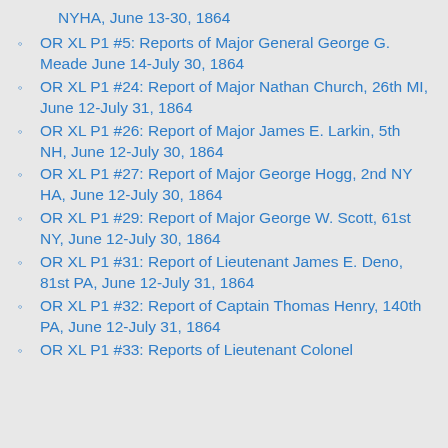NYHA, June 13-30, 1864
OR XL P1 #5: Reports of Major General George G. Meade June 14-July 30, 1864
OR XL P1 #24: Report of Major Nathan Church, 26th MI, June 12-July 31, 1864
OR XL P1 #26: Report of Major James E. Larkin, 5th NH, June 12-July 30, 1864
OR XL P1 #27: Report of Major George Hogg, 2nd NY HA, June 12-July 30, 1864
OR XL P1 #29: Report of Major George W. Scott, 61st NY, June 12-July 30, 1864
OR XL P1 #31: Report of Lieutenant James E. Deno, 81st PA, June 12-July 31, 1864
OR XL P1 #32: Report of Captain Thomas Henry, 140th PA, June 12-July 31, 1864
OR XL P1 #33: Reports of Lieutenant Colonel